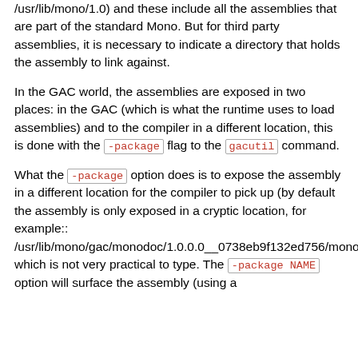/usr/lib/mono/1.0) and these include all the assemblies that are part of the standard Mono. But for third party assemblies, it is necessary to indicate a directory that holds the assembly to link against.
In the GAC world, the assemblies are exposed in two places: in the GAC (which is what the runtime uses to load assemblies) and to the compiler in a different location, this is done with the -package flag to the gacutil command.
What the -package option does is to expose the assembly in a different location for the compiler to pick up (by default the assembly is only exposed in a cryptic location, for example:: /usr/lib/mono/gac/monodoc/1.0.0.0__0738eb9f132ed756/monodoc.dll) which is not very practical to type. The -package NAME option will surface the assembly (using a